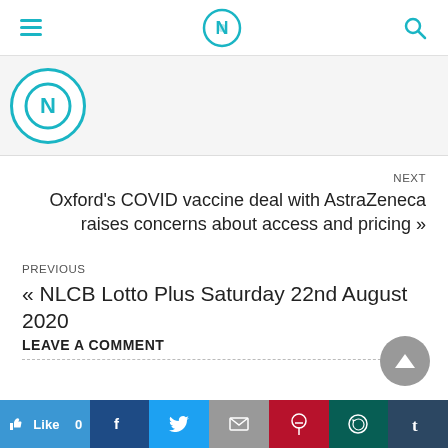Navigation bar with hamburger menu, site logo, and search icon
[Figure (logo): Circular logo partially visible in banner area]
NEXT
Oxford’s COVID vaccine deal with AstraZeneca raises concerns about access and pricing »
PREVIOUS
« NLCB Lotto Plus Saturday 22nd August 2020
LEAVE A COMMENT
[Figure (other): Scroll to top arrow button]
Social sharing bar: Like 0, Facebook, Twitter, Email, Pinterest, WhatsApp, Tumblr